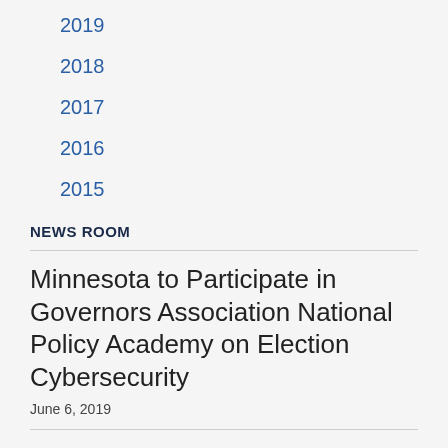2019
2018
2017
2016
2015
NEWS ROOM
Minnesota to Participate in Governors Association National Policy Academy on Election Cybersecurity
June 6, 2019